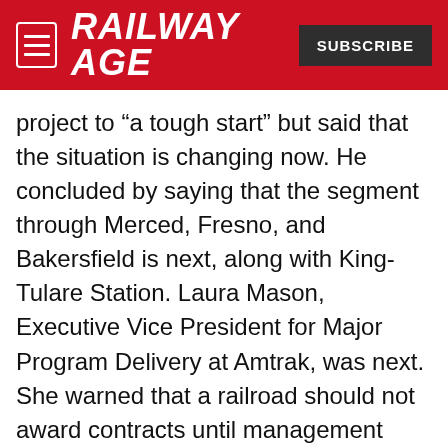RAILWAY AGE
project to “a tough start” but said that the situation is changing now. He concluded by saying that the segment through Merced, Fresno, and Bakersfield is next, along with King-Tulare Station. Laura Mason, Executive Vice President for Major Program Delivery at Amtrak, was next. She warned that a railroad should not award contracts until management knows that it can give track access. Wayne Rogers, Chair and CEO of Northeast Maglev, then described his company’s plan for developing a Maglev (magnetic levitation) train modeled after the ones that run in Japan on JR Central. He said his project could allow travel time of one hour between New York and Washington, D.C. in one hour, and between the